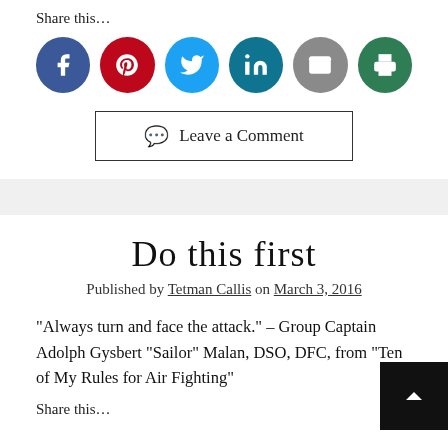Share this…
[Figure (infographic): Row of six social sharing icon circles: Facebook (dark blue, f), Pinterest (red, p), Twitter (light blue, bird), LinkedIn (teal, in), Email (gray, envelope), Print (green, printer)]
Leave a Comment
Do this first
Published by Tetman Callis on March 3, 2016
“Always turn and face the attack.” – Group Captain Adolph Gysbert “Sailor” Malan, DSO, DFC, from “Ten of My Rules for Air Fighting”
Share this…